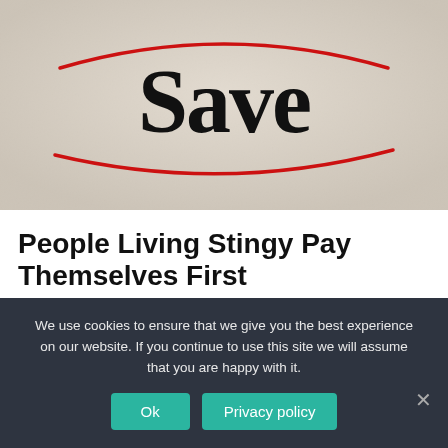[Figure (photo): Close-up photo of paper/notepad with the word 'Save' written in large bold serif font, with a red curved underline beneath it. The paper has a textured off-white/beige surface.]
People Living Stingy Pay Themselves First
Pay yourself first always, no matter what.
We use cookies to ensure that we give you the best experience on our website. If you continue to use this site we will assume that you are happy with it.